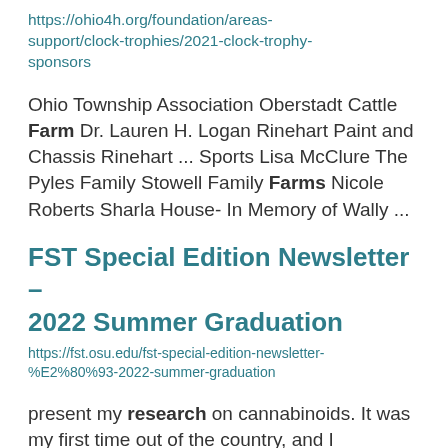https://ohio4h.org/foundation/areas-support/clock-trophies/2021-clock-trophy-sponsors
Ohio Township Association Oberstadt Cattle Farm Dr. Lauren H. Logan Rinehart Paint and Chassis Rinehart ... Sports Lisa McClure The Pyles Family Stowell Family Farms Nicole Roberts Sharla House- In Memory of Wally ...
FST Special Edition Newsletter – 2022 Summer Graduation
https://fst.osu.edu/fst-special-edition-newsletter-%E2%80%93-2022-summer-graduation
present my research on cannabinoids. It was my first time out of the country, and I